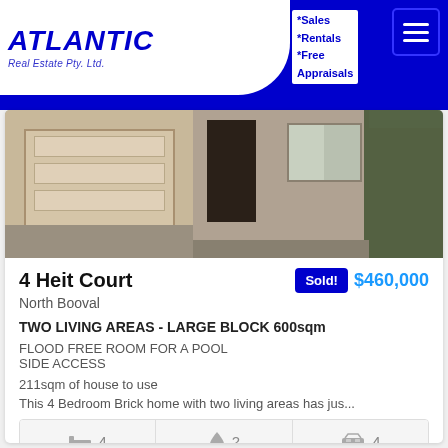[Figure (logo): Atlantic Real Estate Pty. Ltd. logo with blue background and white italic text]
*Sales *Rentals *Free Appraisals
[Figure (photo): Exterior photo of a brick house with a garage door and tree on the right]
4 Heit Court
Sold! $460,000
North Booval
TWO LIVING AREAS - LARGE BLOCK 600sqm
FLOOD FREE ROOM FOR A POOL
SIDE ACCESS
211sqm of house to use
This 4 Bedroom Brick home with two living areas has jus...
| Beds | Baths | Cars |
| --- | --- | --- |
| 4 | 2 | 4 |